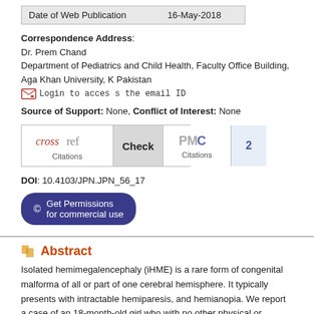| Date of Web Publication | 16-May-2018 |
| --- | --- |
Correspondence Address:
Dr. Prem Chand
Department of Pediatrics and Child Health, Faculty Office Building, Aga Khan University, Pakistan
Login to access the email ID
Source of Support: None, Conflict of Interest: None
[Figure (other): CrossRef Citations Check and PMC Citations badge showing 2 PMC citations]
DOI: 10.4103/JPN.JPN_56_17
[Figure (other): Get Permissions for commercial use button]
Abstract
Isolated hemimegalencephaly (iHME) is a rare form of congenital malformation of all or part of one cerebral hemisphere. It typically presents with intractable hemiparesis, and hemianopia. We report a case of an 18-month-old girl who with no other physical or behavioral abnormality. Initial EEG showed excess